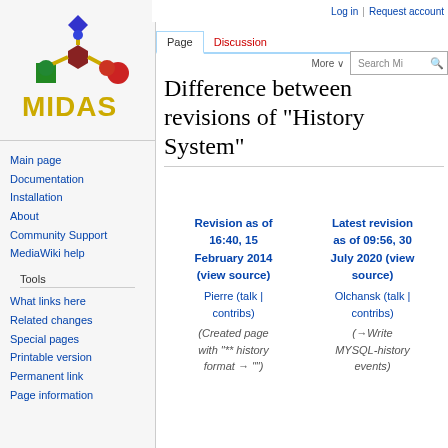[Figure (logo): MIDAS logo with colorful 3D molecular structure above yellow MIDAS text]
Main page
Documentation
Installation
About
Community Support
MediaWiki help
Tools
What links here
Related changes
Special pages
Printable version
Permanent link
Page information
Log in   Request account
Difference between revisions of "History System"
Revision as of 16:40, 15 February 2014 (view source)
Pierre (talk | contribs)
(Created page with "** history format → """)

Latest revision as of 09:56, 30 July 2020 (view source)
Olchansk (talk | contribs)
(→Write MYSQL-history events)